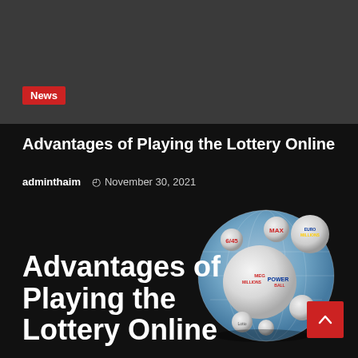[Figure (photo): Dark gray hero banner image area at top of webpage]
News
Advantages of Playing the Lottery Online
adminthaim   November 30, 2021
[Figure (illustration): Lottery balls globe illustration showing Mega Millions, Powerball, EuroMillions, Max, 6/45 logos on a globe of lottery balls]
Advantages of Playing the Lottery Online